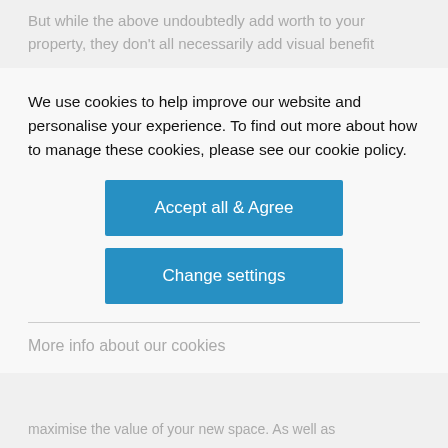But while the above undoubtedly add worth to your property, they don't all necessarily add visual benefit
We use cookies to help improve our website and personalise your experience. To find out more about how to manage these cookies, please see our cookie policy.
Accept all & Agree
Change settings
More info about our cookies
maximise the value of your new space. As well as